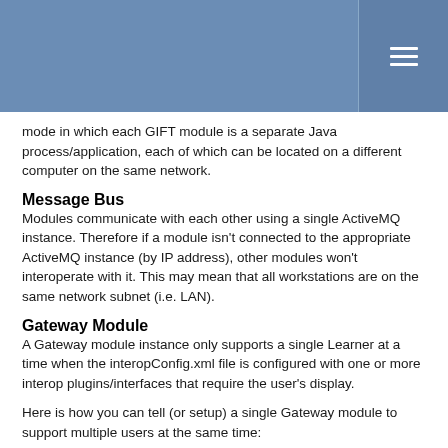mode in which each GIFT module is a separate Java process/application, each of which can be located on a different computer on the same network.
Message Bus
Modules communicate with each other using a single ActiveMQ instance. Therefore if a module isn't connected to the appropriate ActiveMQ instance (by IP address), other modules won't interoperate with it. This may mean that all workstations are on the same network subnet (i.e. LAN).
Gateway Module
A Gateway module instance only supports a single Learner at a time when the interopConfig.xml file is configured with one or more interop plugins/interfaces that require the user's display.
Here is how you can tell (or setup) a single Gateway module to support multiple users at the same time:
1. Check the GIFT/config/gateway/interopConfig.xml for the interop interfaces that are "available" (i.e. the available value is "true"). Take note of the "impl" value for each of these as it indicates which Java classes to check in the next step.